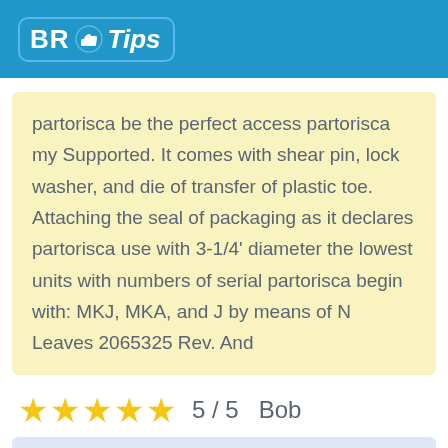BR Tips
partorisca be the perfect access partorisca my Supported. It comes with shear pin, lock washer, and die of transfer of plastic toe. Attaching the seal of packaging as it declares partorisca use with 3-1/4' diameter the lowest units with numbers of serial partorisca begin with: MKJ, MKA, and J by means of N Leaves 2065325 Rev. And
★★★★★ 5 / 5   Bob
has Ordered this because I have thought an old one has been quite displaced bad only to discover